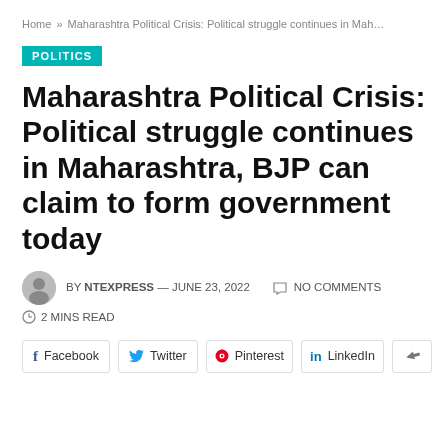Home » Maharashtra Political Crisis: Political struggle continues in Mah…
POLITICS
Maharashtra Political Crisis: Political struggle continues in Maharashtra, BJP can claim to form government today
BY NTEXPRESS — JUNE 23, 2022  NO COMMENTS
2 MINS READ
Facebook  Twitter  Pinterest  LinkedIn